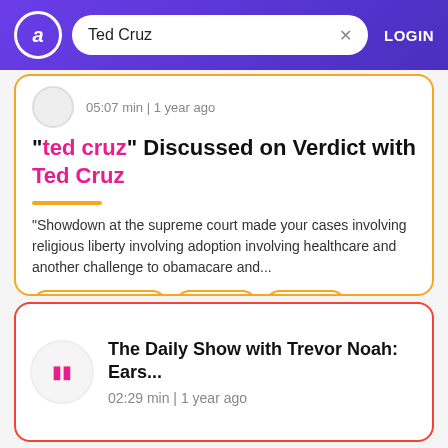Ted Cruz — search bar with LOGIN
05:07 min | 1 year ago
"ted cruz" Discussed on Verdict with Ted Cruz
"Showdown at the supreme court made your cases involving religious liberty involving adoption involving healthcare and another challenge to obamacare and...
michael knowles
ted cruz
six vote
The Daily Show with Trevor Noah: Ears...
02:29 min | 1 year ago